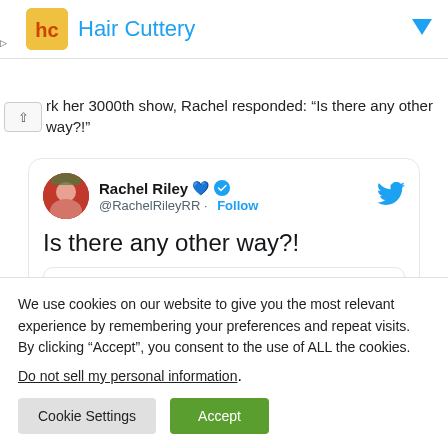[Figure (screenshot): Hair Cuttery advertisement banner with logo and brand name in blue text]
rk her 3000th show, Rachel responded: “Is there any other way?!”
[Figure (screenshot): Tweet card from Rachel Riley (@RachelRileyRR) with blue heart and verified badge, text: Is there any other way?! quoting Adam Latchford @AdamLatchford]
We use cookies on our website to give you the most relevant experience by remembering your preferences and repeat visits. By clicking “Accept”, you consent to the use of ALL the cookies.
Do not sell my personal information.
Cookie Settings   Accept